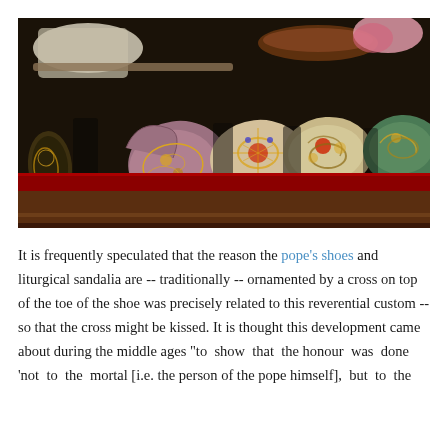[Figure (photo): A photograph showing a row of ornate papal/liturgical slippers and shoes displayed on a red-lined wooden shelf. The shoes are elaborately embroidered with gold thread and decorated with gemstones in various colors including pink, cream, and green.]
It is frequently speculated that the reason the pope's shoes and liturgical sandalia are -- traditionally -- ornamented by a cross on top of the toe of the shoe was precisely related to this reverential custom -- so that the cross might be kissed. It is thought this development came about during the middle ages "to  show  that  the honour  was  done 'not  to  the  mortal [i.e. the person of the pope himself],  but  to  the